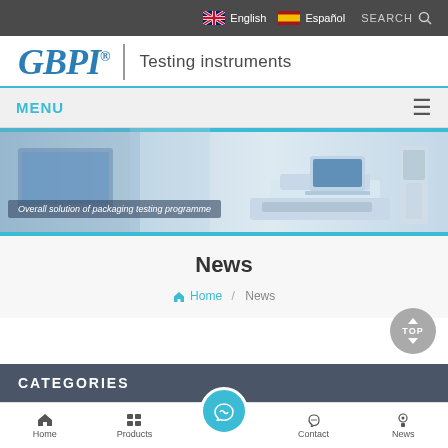English  Español  SEARCH
[Figure (logo): GBPI® | Testing instruments logo with blue italic bold text and tagline]
MENU
[Figure (photo): Hero banner showing laboratory testing instruments with text: Overall solution of packaging testing programme]
News
Home / News
CATEGORIES
Home  Products  Contact  News